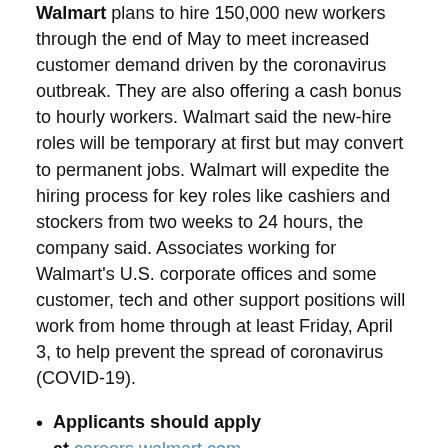Walmart plans to hire 150,000 new workers through the end of May to meet increased customer demand driven by the coronavirus outbreak. They are also offering a cash bonus to hourly workers. Walmart said the new-hire roles will be temporary at first but may convert to permanent jobs. Walmart will expedite the hiring process for key roles like cashiers and stockers from two weeks to 24 hours, the company said. Associates working for Walmart's U.S. corporate offices and some customer, tech and other support positions will work from home through at least Friday, April 3, to help prevent the spread of coronavirus (COVID-19).
Applicants should apply at careers.walmart.com
Rite Aid, a Fortune 500 company headquartered in Pennsylvania, is immediately hiring 5,000 full- and part-time associates. Positions include cashiers